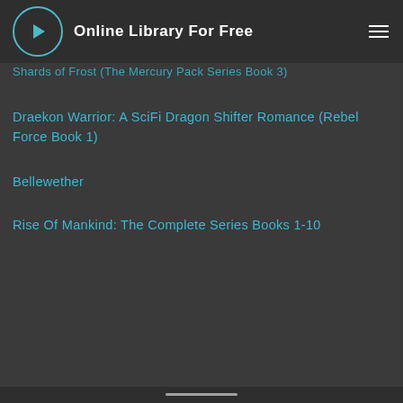Online Library For Free
Shards of Frost (The Mercury Pack Series Book 3)
Draekon Warrior: A SciFi Dragon Shifter Romance (Rebel Force Book 1)
Bellewether
Rise Of Mankind: The Complete Series Books 1-10